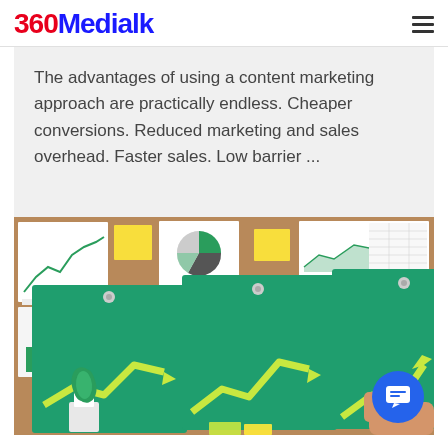360Medialk
The advantages of using a content marketing approach are practically endless. Cheaper conversions. Reduced marketing and sales overhead. Faster sales. Low barrier ...
[Figure (photo): Photo of a person holding green clipboards/cards with upward trending line charts pinned to a bulletin board covered with sticky notes and financial charts. Three green cards with yellow arrow-shaped trend lines pointing upward are displayed, with a hand holding the rightmost card. Background shows various charts and graphs on paper, with a small potted plant in the lower left.]